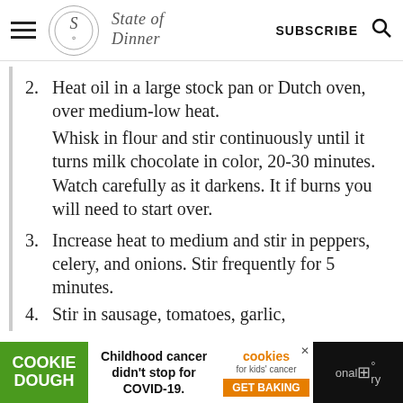State of Dinner — SUBSCRIBE
2. Heat oil in a large stock pan or Dutch oven, over medium-low heat.
Whisk in flour and stir continuously until it turns milk chocolate in color, 20-30 minutes. Watch carefully as it darkens. It if burns you will need to start over.
3. Increase heat to medium and stir in peppers, celery, and onions. Stir frequently for 5 minutes.
4. Stir in sausage, tomatoes, garlic,
COOKIE DOUGH — Childhood cancer didn't stop for COVID-19. cookies for kids' cancer GET BAKING